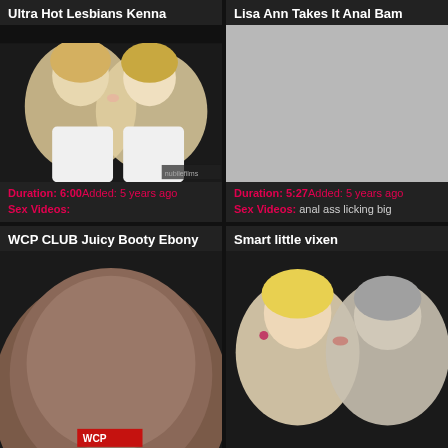Ultra Hot Lesbians Kenna
[Figure (photo): Thumbnail of two blonde women kissing]
Duration: 6:00Added: 5 years ago
Sex Videos:
Lisa Ann Takes It Anal Bam
[Figure (photo): Gray placeholder thumbnail]
Duration: 5:27Added: 5 years ago
Sex Videos: anal ass licking big
WCP CLUB Juicy Booty Ebony
[Figure (photo): Thumbnail showing close-up body shot]
Smart little vixen
[Figure (photo): Thumbnail of two women kissing]